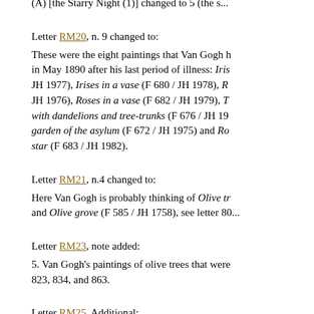(A) [the Starry Night (1)] changed to 5 (the s...
Letter RM20, n. 9 changed to:
These were the eight paintings that Van Gogh h... in May 1890 after his last period of illness: Iris... JH 1977), Irises in a vase (F 680 / JH 1978), R... JH 1976), Roses in a vase (F 682 / JH 1979), T... with dandelions and tree-trunks (F 676 / JH 19... garden of the asylum (F 672 / JH 1975) and Ro... star (F 683 / JH 1982).
Letter RM21, n.4 changed to:
Here Van Gogh is probably thinking of Olive tr... and Olive grove (F 585 / JH 1758), see letter 80...
Letter RM23, note added:
5. Van Gogh's paintings of olive trees that were... 823, 834, and 863.
Letter RM25, Additional:
'that horrible day' changed to 'the day of the ac...
Biographical & historical context
n. 9 changed to: